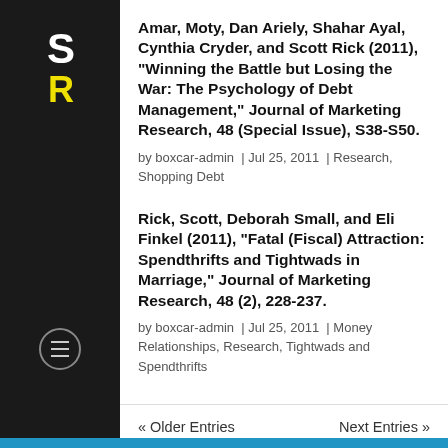[Figure (logo): SR logo in white and yellow on dark sidebar, with hamburger menu icon below]
Amar, Moty, Dan Ariely, Shahar Ayal, Cynthia Cryder, and Scott Rick (2011), "Winning the Battle but Losing the War: The Psychology of Debt Management," Journal of Marketing Research, 48 (Special Issue), S38-S50.
by boxcar-admin | Jul 25, 2011 | Research, Shopping Debt
Rick, Scott, Deborah Small, and Eli Finkel (2011), "Fatal (Fiscal) Attraction: Spendthrifts and Tightwads in Marriage," Journal of Marketing Research, 48 (2), 228-237.
by boxcar-admin | Jul 25, 2011 | Money Relationships, Research, Tightwads and Spendthrifts
« Older Entries    Next Entries »